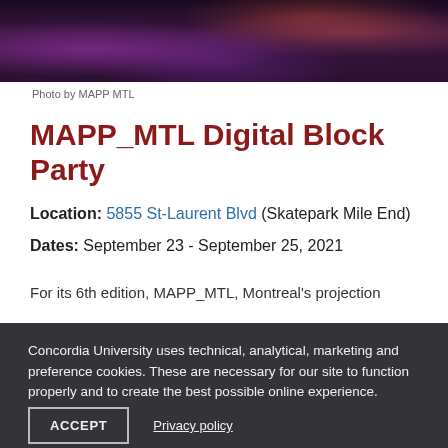[Figure (photo): Dark crowd photo of people at a nighttime event with purple and pink lighting, concert atmosphere]
Photo by MAPP MTL
MAPP_MTL Digital Block Party
Location: 5855 St-Laurent Blvd (Skatepark Mile End)
Dates: September 23 - September 25, 2021
For its 6th edition, MAPP_MTL, Montreal's projection
Concordia University uses technical, analytical, marketing and preference cookies. These are necessary for our site to function properly and to create the best possible online experience.
ACCEPT
Privacy policy